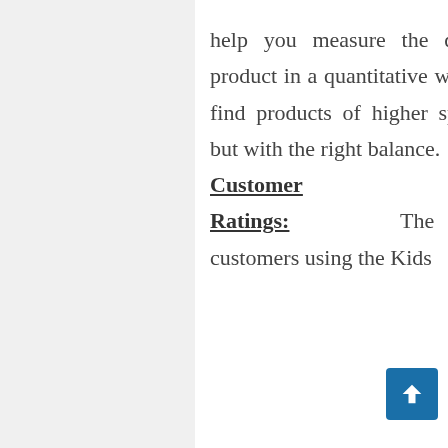help you measure the quality of a product in a quantitative way. We try to find products of higher specifications, but with the right balance. Customer Ratings: The hundreds of customers using the Kids